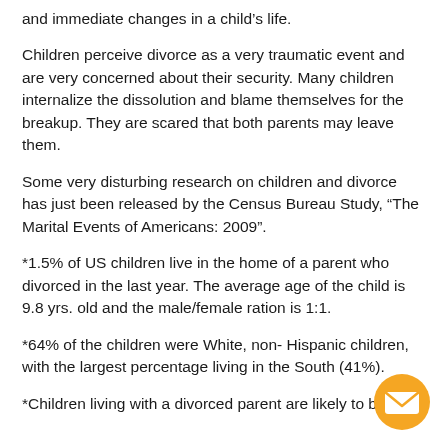and immediate changes in a child's life.
Children perceive divorce as a very traumatic event and are very concerned about their security. Many children internalize the dissolution and blame themselves for the breakup. They are scared that both parents may leave them.
Some very disturbing research on children and divorce has just been released by the Census Bureau Study, “The Marital Events of Americans: 2009”.
*1.5% of US children live in the home of a parent who divorced in the last year. The average age of the child is 9.8 yrs. old and the male/female ration is 1:1.
*64% of the children were White, non- Hispanic children, with the largest percentage living in the South (41%).
*Children living with a divorced parent are likely to be in a
[Figure (illustration): Orange circular email/envelope button icon in the bottom right corner]